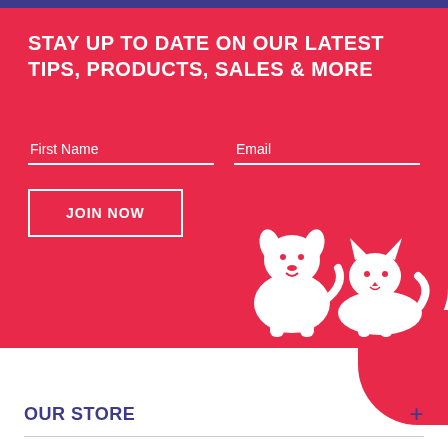STAY UP TO DATE ON OUR LATEST TIPS, PRODUCTS, SALES & MORE
[Figure (infographic): Newsletter signup form with First Name and Email fields, JOIN NOW button, and white dog and cat icons on red background]
[Figure (infographic): Social media icons: email, Facebook, YouTube, Instagram, Pinterest in purple/indigo color]
OUR STORE